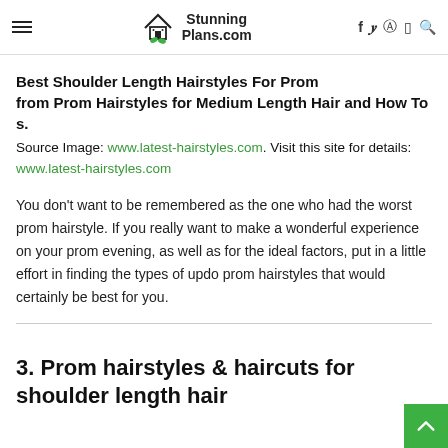StunningPlans.com — navigation header with hamburger menu, logo, and social icons
Best Shoulder Length Hairstyles For Prom
from Prom Hairstyles for Medium Length Hair and How To s.
Source Image: www.latest-hairstyles.com. Visit this site for details: www.latest-hairstyles.com
You don't want to be remembered as the one who had the worst prom hairstyle. If you really want to make a wonderful experience on your prom evening, as well as for the ideal factors, put in a little effort in finding the types of updo prom hairstyles that would certainly be best for you.
3. Prom hairstyles & haircuts for shoulder length hair